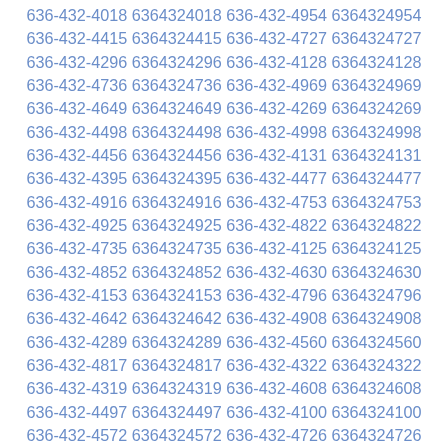636-432-4018 6364324018 636-432-4954 6364324954
636-432-4415 6364324415 636-432-4727 6364324727
636-432-4296 6364324296 636-432-4128 6364324128
636-432-4736 6364324736 636-432-4969 6364324969
636-432-4649 6364324649 636-432-4269 6364324269
636-432-4498 6364324498 636-432-4998 6364324998
636-432-4456 6364324456 636-432-4131 6364324131
636-432-4395 6364324395 636-432-4477 6364324477
636-432-4916 6364324916 636-432-4753 6364324753
636-432-4925 6364324925 636-432-4822 6364324822
636-432-4735 6364324735 636-432-4125 6364324125
636-432-4852 6364324852 636-432-4630 6364324630
636-432-4153 6364324153 636-432-4796 6364324796
636-432-4642 6364324642 636-432-4908 6364324908
636-432-4289 6364324289 636-432-4560 6364324560
636-432-4817 6364324817 636-432-4322 6364324322
636-432-4319 6364324319 636-432-4608 6364324608
636-432-4497 6364324497 636-432-4100 6364324100
636-432-4572 6364324572 636-432-4726 6364324726
636-432-4551 6364324551 636-432-4666 6364324666
636-432-4713 6364324713 636-432-4178 6364324178
636-432-4675 6364324675 636-432-4595 6364324595
636-432-4937 6364324937 636-432-4155 6364324155
636-432-4593 6364324593 636-432-4968 6364324968
636-432-4156 6364324156 636-432-4197 6364324197